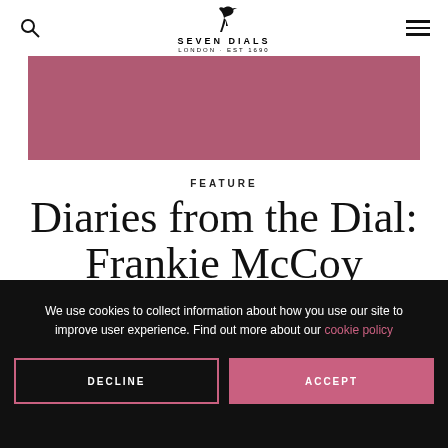Seven Dials — LONDON · EST 1690
[Figure (photo): Dusty rose / mauve pink hero image banner strip]
FEATURE
Diaries from the Dial: Frankie McCoy
3rd Aug 2020
We use cookies to collect information about how you use our site to improve user experience. Find out more about our cookie policy
DECLINE   ACCEPT